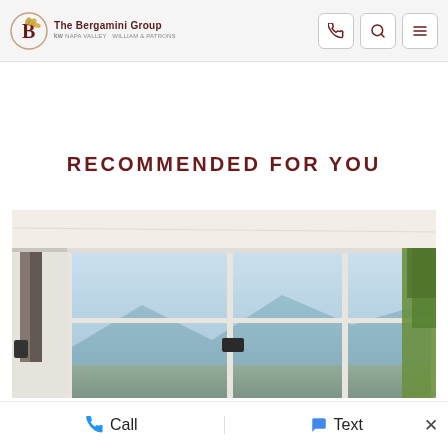The Bergamini Group kw
RECOMMENDED FOR YOU
[Figure (photo): Interior room photo showing white ceiling panels, sliding glass windows/doors with mountain and blue sky view, white curtains on the left side, and green tree visible on the right edge.]
Call   Text